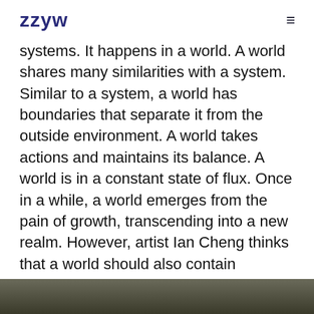zzyw
systems. It happens in a world. A world shares many similarities with a system. Similar to a system, a world has boundaries that separate it from the outside environment. A world takes actions and maintains its balance. A world is in a constant state of flux. Once in a while, a world emerges from the pain of growth, transcending into a new realm. However, artist Ian Cheng thinks that a world should also contain mystical figures(Cheng, 2019), “A World manifests itself in its members, emissaries, symbols, tangible artifacts, and media, yet it is always something more.”
[Figure (photo): Partial image strip visible at the bottom of the page, appearing to be a dark outdoor or nature photograph.]